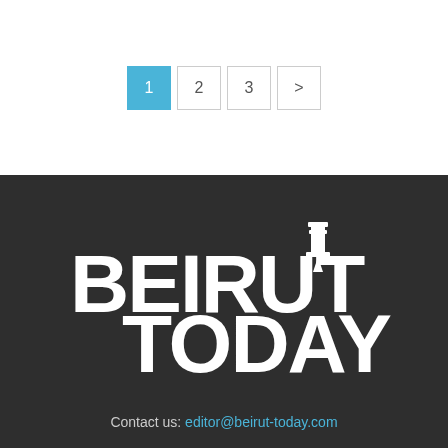Pagination: 1 (active), 2, 3, >
[Figure (logo): Beirut Today logo in white text on dark background with lighthouse icon]
Contact us: editor@beirut-today.com